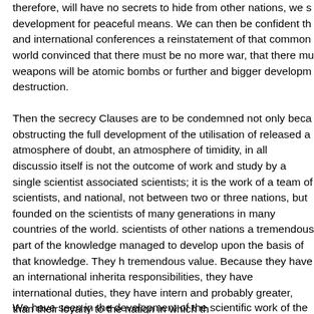therefore, will have no secrets to hide from other nations, we s development for peaceful means. We can then be confident th and international conferences a reinstatement of that common world convinced that there must be no more war, that there mu weapons will be atomic bombs or further and bigger developm destruction.
Then the secrecy Clauses are to be condemned not only beca obstructing the full development of the utilisation of released a atmosphere of doubt, an atmosphere of timidity, in all discussio itself is not the outcome of work and study by a single scientist associated scientists; it is the work of a team of scientists, and national, not between two or three nations, but founded on the scientists of many generations in many countries of the world. scientists of other nations a tremendous part of the knowledge managed to develop upon the basis of that knowledge. They h tremendous value. Because they have an international inherita responsibilities, they have international duties, they have intern and probably greater, than their loyalty to the nation in which th
We have seen in the development of the scientific work of the